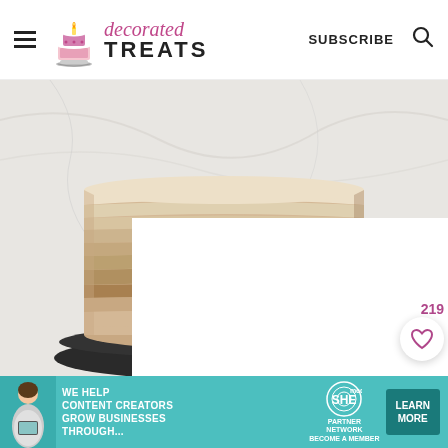decorated TREATS | SUBSCRIBE
[Figure (photo): A tall layered cake with ombre frosting from cream/white at top to light brown at bottom, sitting on a dark plate against a marble background. A white overlay box partially covers the lower portion of the cake. Social sharing icons visible on the right side including a heart save button (219 saves) and a pink search button.]
[Figure (infographic): Advertisement banner: teal/turquoise background with text 'WE HELP CONTENT CREATORS GROW BUSINESSES THROUGH...' alongside SHE Media Partner Network logo and a 'LEARN MORE' button]